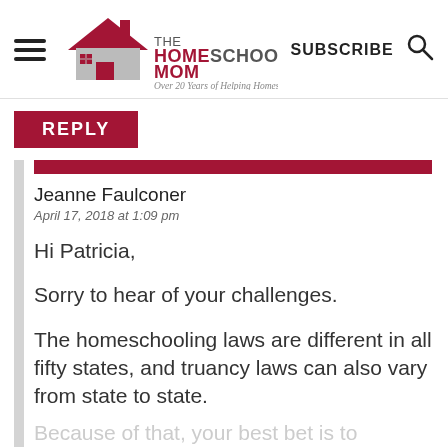[Figure (logo): TheHomeschoolMom logo with house icon and tagline 'Over 20 Years of Helping Homeschoolers!']
SUBSCRIBE
REPLY
Jeanne Faulconer
April 17, 2018 at 1:09 pm
Hi Patricia,
Sorry to hear of your challenges.
The homeschooling laws are different in all fifty states, and truancy laws can also vary from state to state.
Because of that, your best bet is to